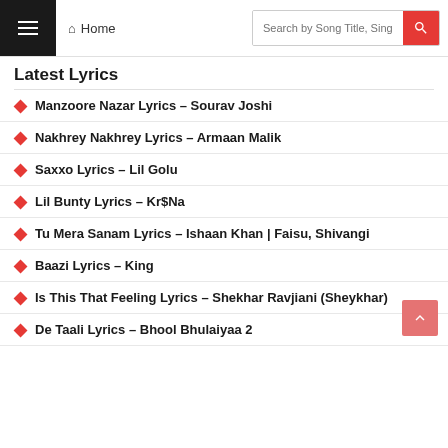≡ Home | Search by Song Title, Singer...
Latest Lyrics
Manzoore Nazar Lyrics – Sourav Joshi
Nakhrey Nakhrey Lyrics – Armaan Malik
Saxxo Lyrics – Lil Golu
Lil Bunty Lyrics – Kr$Na
Tu Mera Sanam Lyrics – Ishaan Khan | Faisu, Shivangi
Baazi Lyrics – King
Is This That Feeling Lyrics – Shekhar Ravjiani (Sheykhar)
De Taali Lyrics – Bhool Bhulaiyaa 2